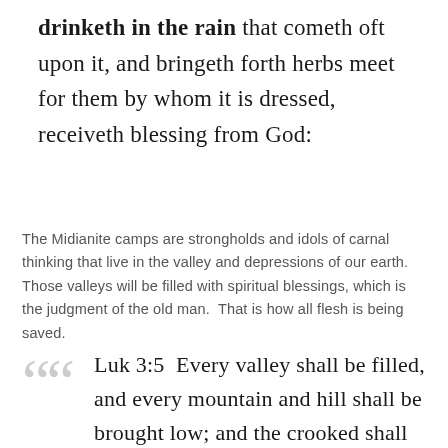drinketh in the rain that cometh oft upon it, and bringeth forth herbs meet for them by whom it is dressed, receiveth blessing from God:
The Midianite camps are strongholds and idols of carnal thinking that live in the valley and depressions of our earth. Those valleys will be filled with spiritual blessings, which is the judgment of the old man.  That is how all flesh is being saved.
Luk 3:5  Every valley shall be filled, and every mountain and hill shall be brought low; and the crooked shall be